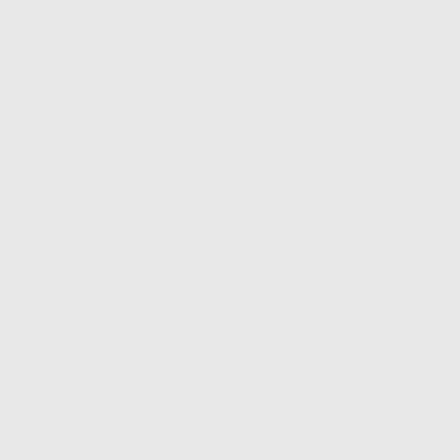20 And in behold, w filled with kings had were able 22 And th the water, as blood: killed, the spoil.
God set a
24 And w up and str went forw They bea man cast water, and they left i it. 26 An